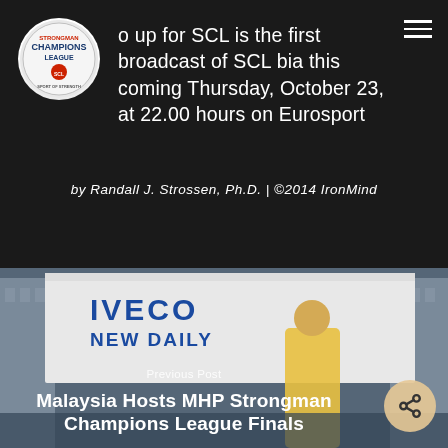[Figure (logo): Strongman Champions League circular logo]
o up for SCL is the first broadcast of SCL bia this coming Thursday, October 23, at 22.00 hours on Eurosport
by Randall J. Strossen, Ph.D. | ©2014 IronMind
[Figure (photo): Athlete in yellow MHP shirt standing in front of an IVECO NEW DAILY truck at a strongman competition venue with crowd in background]
Previous Post
Malaysia Hosts MHP Strongman Champions League Finals